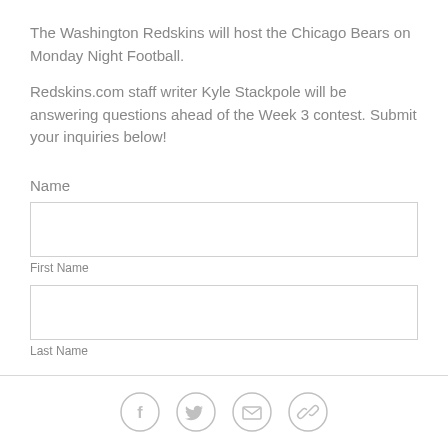The Washington Redskins will host the Chicago Bears on Monday Night Football.
Redskins.com staff writer Kyle Stackpole will be answering questions ahead of the Week 3 contest. Submit your inquiries below!
Name
First Name
Last Name
[Figure (infographic): Four circular social sharing icons: Facebook (f), Twitter (bird), Email (envelope), Link/Chain icon]